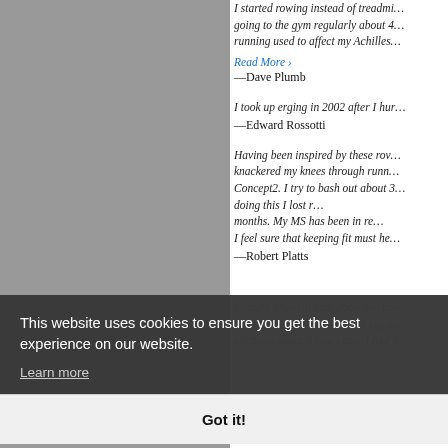I started rowing instead of treadmill… going to the gym regularly about 4… running used to affect my Achilles…
Read More ›
—Dave Plumb
I took up erging in 2002 after I hur…
—Edward Rossotti
Having been inspired by these row… knackered my knees through runn… Concept2. I try to bash out about 3… doing this I lost r… months. My MS has been in re… I feel sure that keeping fit must he…
—Robert Platts
I taught physical education and coa… 38 years. I got into using the erg a… climbing about 9 years ago. I had b…
This website uses cookies to ensure you get the best experience on our website.
Learn more
Got it!